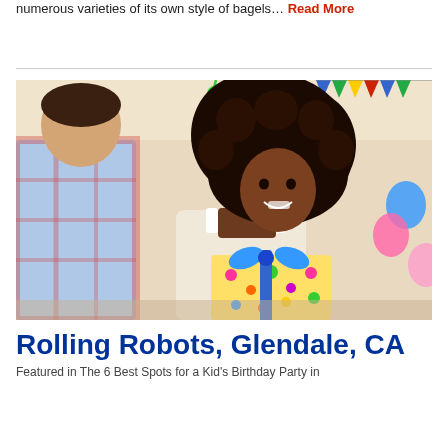numerous varieties of its own style of bagels… Read More
[Figure (photo): A smiling girl with curly hair holding a colorful wrapped gift with a blue bow at a birthday party decorated with swirling streamers, balloons, and bunting. A boy in a plaid shirt is seen from behind in the foreground.]
Rolling Robots, Glendale, CA
Featured in The 6 Best Spots for a Kid's Birthday Party in